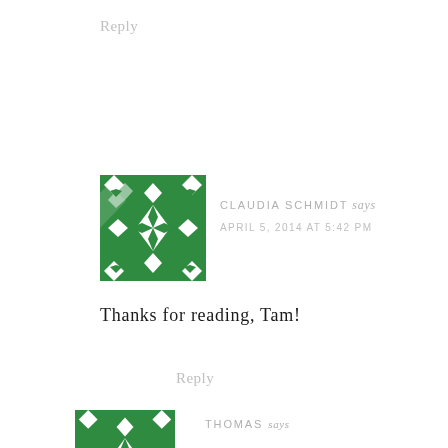Reply
[Figure (illustration): Green geometric patterned avatar for Claudia Schmidt — a square tile with white star/diamond shapes on green background]
CLAUDIA SCHMIDT says
APRIL 5, 2014 AT 5:42 PM
Thanks for reading, Tam!
Reply
[Figure (illustration): Green geometric patterned avatar for Thomas — partially visible, same style tile]
THOMAS says